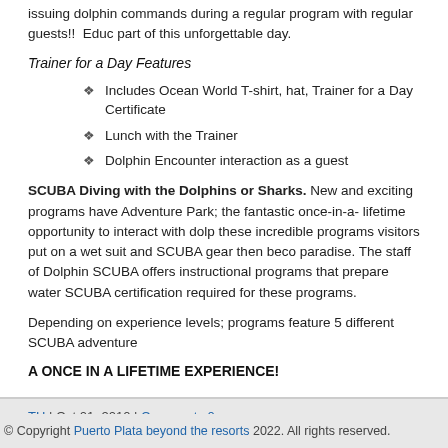issuing dolphin commands during a regular program with regular guests!!  Educ part of this unforgettable day.
Trainer for a Day Features
Includes Ocean World T-shirt, hat, Trainer for a Day Certificate
Lunch with the Trainer
Dolphin Encounter interaction as a guest
SCUBA Diving with the Dolphins or Sharks. New and exciting programs have Adventure Park; the fantastic once-in-a- lifetime opportunity to interact with dolp these incredible programs visitors put on a wet suit and SCUBA gear then beco paradise. The staff of Dolphin SCUBA offers instructional programs that prepare water SCUBA certification required for these programs.
Depending on experience levels; programs feature 5 different SCUBA adventure
A ONCE IN A LIFETIME EXPERIENCE!
TH | Oct 01, 2010 | Comments 0
© Copyright Puerto Plata beyond the resorts 2022. All rights reserved.